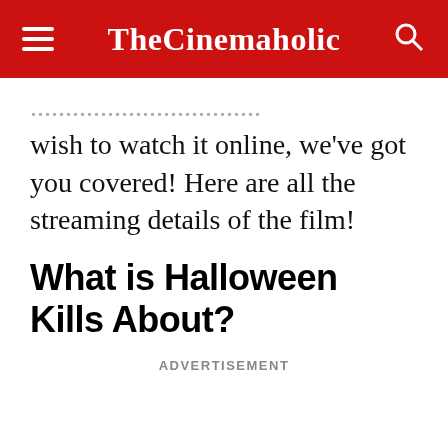TheCinemaholic
wish to watch it online, we've got you covered! Here are all the streaming details of the film!
What is Halloween Kills About?
ADVERTISEMENT